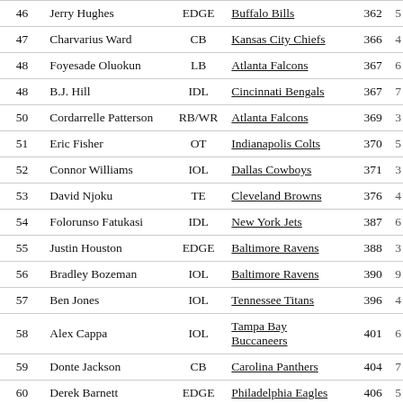| # | Name | Pos | Team | Score |  |
| --- | --- | --- | --- | --- | --- |
| 46 | Jerry Hughes | EDGE | Buffalo Bills | 362 | 5 |
| 47 | Charvarius Ward | CB | Kansas City Chiefs | 366 | 4 |
| 48 | Foyesade Oluokun | LB | Atlanta Falcons | 367 | 6 |
| 48 | B.J. Hill | IDL | Cincinnati Bengals | 367 | 7 |
| 50 | Cordarrelle Patterson | RB/WR | Atlanta Falcons | 369 | 3 |
| 51 | Eric Fisher | OT | Indianapolis Colts | 370 | 5 |
| 52 | Connor Williams | IOL | Dallas Cowboys | 371 | 3 |
| 53 | David Njoku | TE | Cleveland Browns | 376 | 4 |
| 54 | Folorunso Fatukasi | IDL | New York Jets | 387 | 6 |
| 55 | Justin Houston | EDGE | Baltimore Ravens | 388 | 3 |
| 56 | Bradley Bozeman | IOL | Baltimore Ravens | 390 | 9 |
| 57 | Ben Jones | IOL | Tennessee Titans | 396 | 4 |
| 58 | Alex Cappa | IOL | Tampa Bay Buccaneers | 401 | 6 |
| 59 | Donte Jackson | CB | Carolina Panthers | 404 | 7 |
| 60 | Derek Barnett | EDGE | Philadelphia Eagles | 406 | 5 |